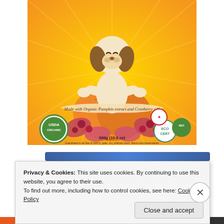[Figure (illustration): Product packaging illustration: cartoon dog sitting in yoga pose on a pumpkin, with cranberries and leaves around the base. Orange/yellow sunburst background. Banner reads 'Made with Organic Pumpkin extract and Cranberry oil!'. USDA Organic seal bottom left. ECO CERT and other certification badges bottom right. Text: 300g (10.6 oz). Guaranteed to be free of GMO's, grain, soy, artificial colors, flavors and preservatives.]
Privacy & Cookies: This site uses cookies. By continuing to use this website, you agree to their use.
To find out more, including how to control cookies, see here: Cookie Policy
Close and accept